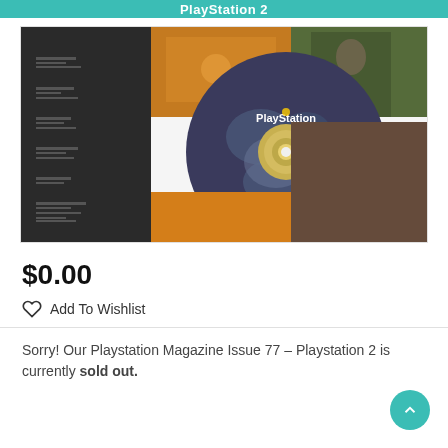PlayStation 2
[Figure (photo): Product image of PlayStation Magazine Issue 77 showing a PlayStation demo disc with camouflage pattern and game collage cover art for PlayStation 2]
$0.00
Add To Wishlist
Sorry! Our Playstation Magazine Issue 77 – Playstation 2 is currently sold out.